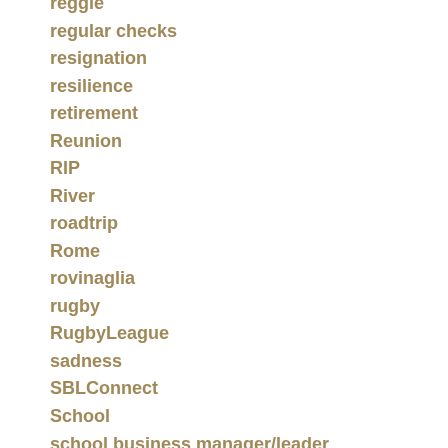reggie
regular checks
resignation
resilience
retirement
Reunion
RIP
River
roadtrip
Rome
rovinaglia
rugby
RugbyLeague
sadness
SBLConnect
School
school business manager/leader